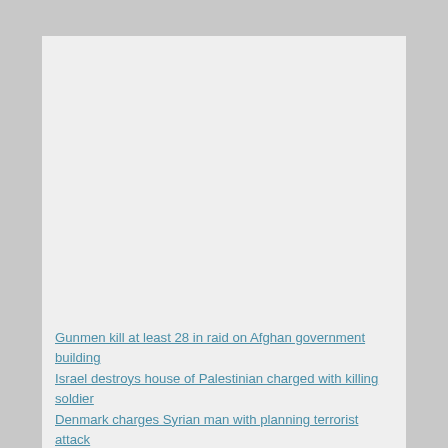Gunmen kill at least 28 in raid on Afghan government building
Israel destroys house of Palestinian charged with killing soldier
Denmark charges Syrian man with planning terrorist attack
GMs CEO to meet U.S. lawmakers next week over job cuts
ECB takes on PayPal with instant payment system